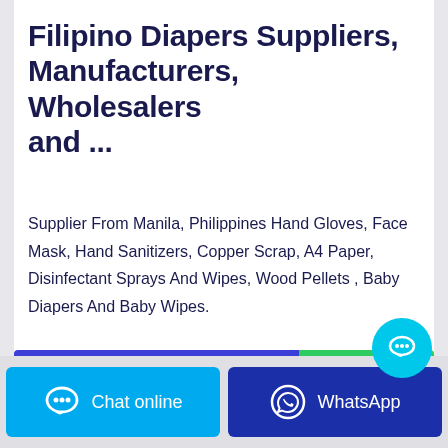Filipino Diapers Suppliers, Manufacturers, Wholesalers and ...
Supplier From Manila, Philippines Hand Gloves, Face Mask, Hand Sanitizers, Copper Scrap, A4 Paper, Disinfectant Sprays And Wipes, Wood Pellets , Baby Diapers And Baby Wipes.
[Figure (screenshot): Blue 'Contact The Manufacturer' button and green 'WhatsApp' button side by side]
[Figure (screenshot): Cyan chat bubble floating button overlay]
[Figure (screenshot): Bottom bar with cyan 'Chat online' button and dark blue 'WhatsApp' button]